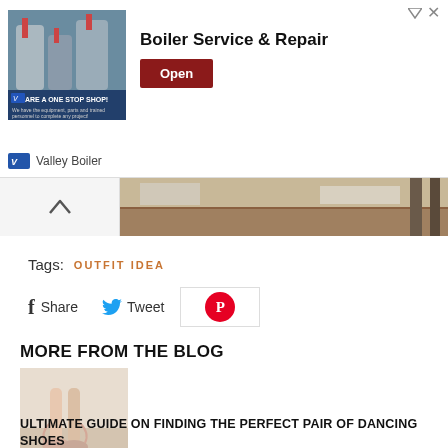[Figure (screenshot): Advertisement banner for Valley Boiler - Boiler Service & Repair with industrial boiler image and Open button]
[Figure (photo): Partial image strip showing a building interior or ceiling structure]
Tags:  OUTFIT IDEA
f  Share    Tweet   Pinterest
MORE FROM THE BLOG
[Figure (photo): Ballet pointe shoes on a dancer standing on toes]
ULTIMATE GUIDE ON FINDING THE PERFECT PAIR OF DANCING SHOES